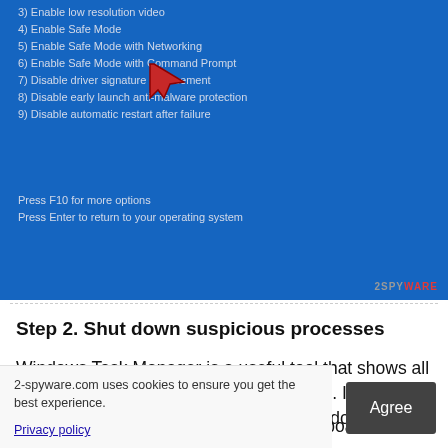[Figure (screenshot): Windows boot options screen (blue background) showing numbered startup options including Enable low resolution video, Enable Safe Mode, Enable Safe Mode with Networking, Enable Safe Mode with Command Prompt, Disable driver signature enforcement, Disable early launch anti-malware protection, Disable automatic restart after failure. A red arrow cursor icon overlays option 6. Press F10 for more options and Press Enter to return to your operating system shown at bottom. 2-spyware watermark in bottom right.]
Step 2. Shut down suspicious processes
Windows Task Manager is a useful tool that shows all the processes running in the background. If malware is running a process, you need to shut it down:
1.  Press Ctrl + Shift + Esc on your keyboard to open
2-spyware.com uses cookies to ensure you get the best experience.
Privacy policy
Agree